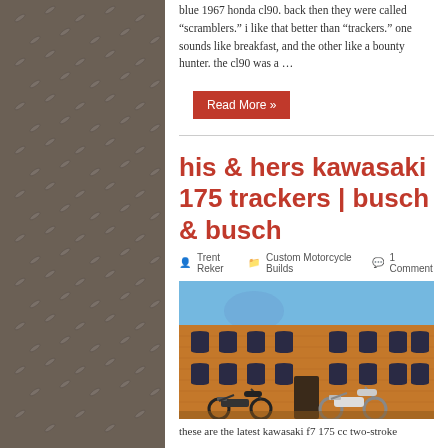blue 1967 honda cl90. back then they were called “scramblers.” i like that better than “trackers.” one sounds like breakfast, and the other like a bounty hunter. the cl90 was a …
Read More »
his & hers kawasaki 175 trackers | busch & busch
Trent Reker   Custom Motorcycle Builds   1 Comment
[Figure (photo): Two custom Kawasaki 175 tracker motorcycles parked in front of a large brick industrial building with arched windows under a blue sky.]
these are the latest kawasaki f7 175 cc two-stroke